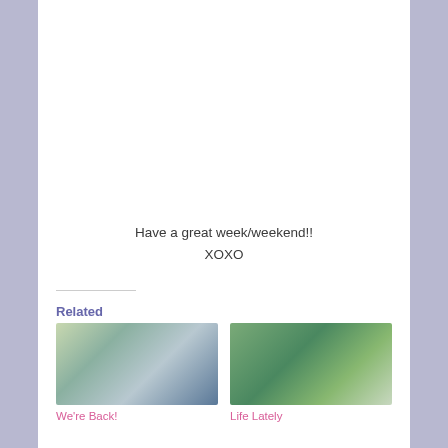Have a great week/weekend!!
XOXO
Related
[Figure (photo): Two people and a dog taking a selfie in a car]
We're Back!
[Figure (photo): Man with two young girls standing near a pond with trees in the background]
Life Lately